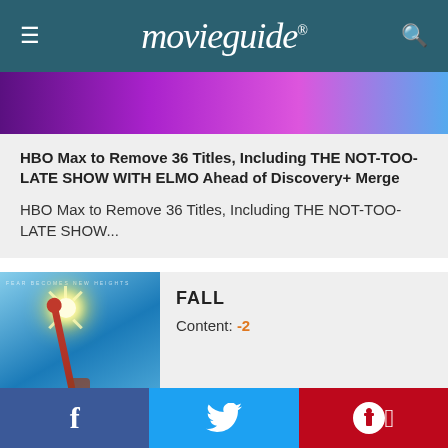movieguide®
[Figure (illustration): Purple to pink to blue gradient banner strip]
HBO Max to Remove 36 Titles, Including THE NOT-TOO-LATE SHOW WITH ELMO Ahead of Discovery+ Merge
HBO Max to Remove 36 Titles, Including THE NOT-TOO-LATE SHOW...
[Figure (photo): Movie poster for FALL showing a figure on a tall pole against a bright blue sky with a sunburst]
FALL
Content: -2
Read Review...
f  (social share buttons: Facebook, Twitter, Pinterest)